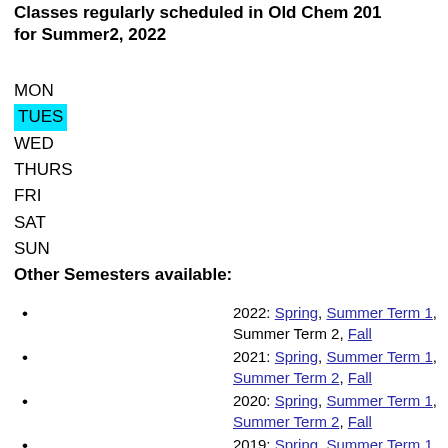Classes regularly scheduled in Old Chem 201 for Summer2, 2022
MON
TUES
WED
THURS
FRI
SAT
SUN
Other Semesters available:
2022: Spring, Summer Term 1, Summer Term 2, Fall
2021: Spring, Summer Term 1, Summer Term 2, Fall
2020: Spring, Summer Term 1, Summer Term 2, Fall
2019: Spring, Summer Term 1, Summer Term 2, Fall
2018: Spring, Summer Term 1, Summer Term 2, Fall
2017: Spring, Summer Term 1, Summer Term 2, Fall
2016: Spring, Summer Term 1, Summer...